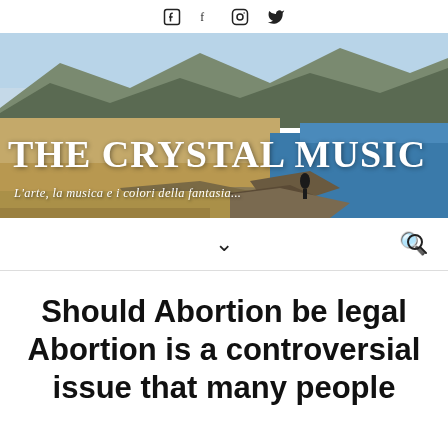Social media icons: Facebook, f, Instagram, Twitter
[Figure (photo): Landscape banner photo showing a rocky coastal scene with mountains in the background and blue water on the right. White text overlay reads 'THE CRYSTAL MUSIC' with italic subtitle 'L'arte, la musica e i colori della fantasia...']
Navigation bar with chevron dropdown and search icon
Should Abortion be legal Abortion is a controversial issue that many people